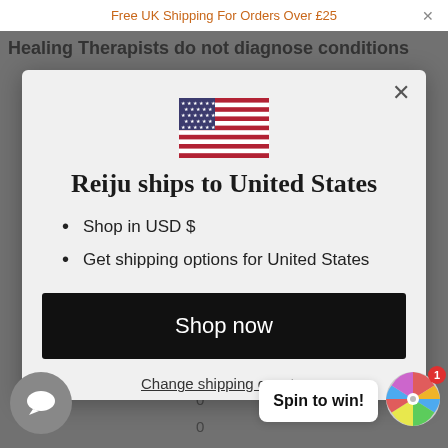Free UK Shipping For Orders Over £25
Healing Therapists do not diagnose conditions
[Figure (screenshot): Modal dialog showing US flag, shipping destination selection for United States with options to shop in USD $ and get shipping options for United States, a Shop now button, and a Change shipping country link]
Reiju ships to United States
Shop in USD $
Get shipping options for United States
Shop now
Change shipping country
Spin to win!